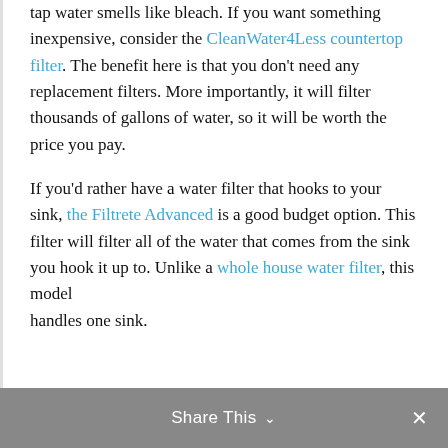tap water smells like bleach. If you want something inexpensive, consider the CleanWater4Less countertop filter. The benefit here is that you don't need any replacement filters. More importantly, it will filter thousands of gallons of water, so it will be worth the price you pay.

If you'd rather have a water filter that hooks to your sink, the Filtrete Advanced is a good budget option. This filter will filter all of the water that comes from the sink you hook it up to. Unlike a whole house water filter, this model handles one sink.
Share This ∨  ✕